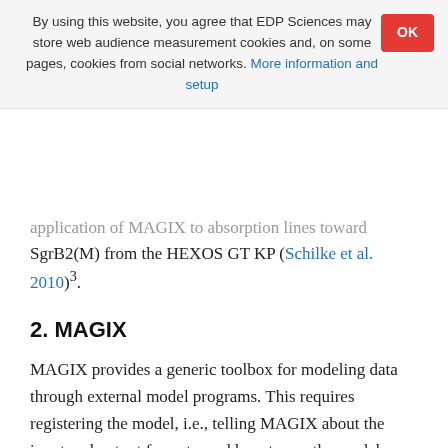By using this website, you agree that EDP Sciences may store web audience measurement cookies and, on some pages, cookies from social networks. More information and setup
application of MAGIX to absorption lines toward SgrB2(M) from the HEXOS GT KP (Schilke et al. 2010)³.
2. MAGIX
MAGIX provides a generic toolbox for modeling data through external model programs. This requires registering the model, i.e., telling MAGIX about the input and output formats, and how to run the model. This has to be done only once for each model. Then, for each run, the model has to be instantiated, i.e., given the initial values and parameter boundaries. After an